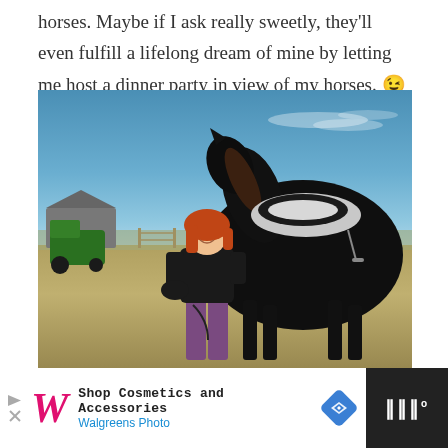horses. Maybe if I ask really sweetly, they'll even fulfill a lifelong dream of mine by letting me host a dinner party in view of my horses. 😉
[Figure (photo): A young woman with red hair wearing a black top and purple pants stands next to a large black horse with a saddle in an outdoor arena. A green tractor and shelter structure are visible in the background on a sunny day with blue sky.]
[Figure (screenshot): Advertisement bar: Walgreens Photo ad showing 'Shop Cosmetics and Accessories' with the Walgreens W logo in pink/red, a blue navigation arrow diamond icon, and a dark right panel with a white icon.]